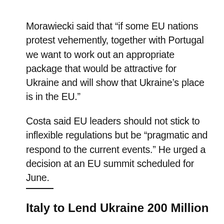Morawiecki said that “if some EU nations protest vehemently, together with Portugal we want to work out an appropriate package that would be attractive for Ukraine and will show that Ukraine’s place is in the EU.”
Costa said EU leaders should not stick to inflexible regulations but be “pragmatic and respond to the current events.” He urged a decision at an EU summit scheduled for June.
——
Italy to Lend Ukraine 200 Million